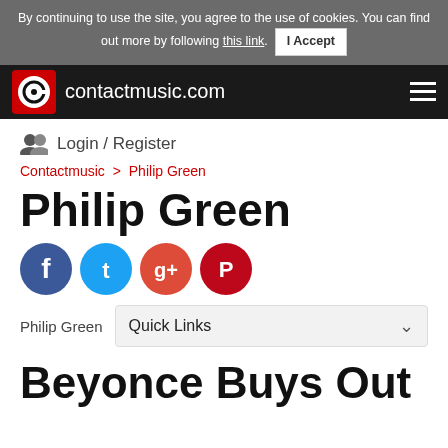By continuing to use the site, you agree to the use of cookies. You can find out more by following this link. I Accept
[Figure (logo): contactmusic.com logo with navigation bar on dark background]
Login / Register
Contactmusic > Philip Green
Philip Green
[Figure (illustration): Social media icons: Facebook, Twitter, Google+, Pinterest]
Philip Green  Quick Links
Beyonce Buys Out